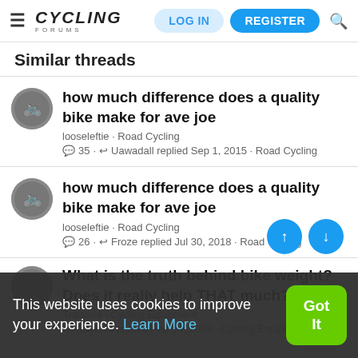Cycling Forums — LOG IN | REGISTER
Similar threads
how much difference does a quality bike make for ave joe
looseleftie · Road Cycling
35 · Uawadall replied Sep 1, 2015 · Road Cycling
how much difference does a quality bike make for ave joe
looseleftie · Road Cycling
26 · Froze replied Jul 30, 2018 · Road Cycling
What is the truth behind bike weight? Does it really help THAT much?
Travis44 · Cycling Equipment
Travis44 replied Feb 24, 2008 · Cycling Equipment
This website uses cookies to improve your experience. Learn More